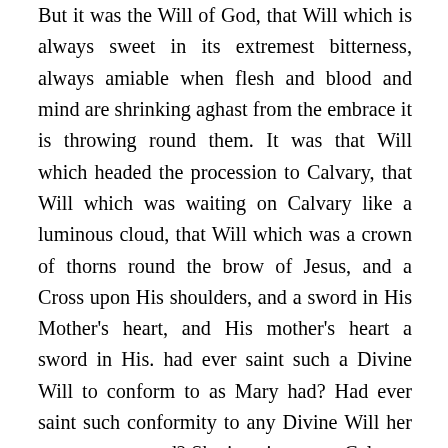But it was the Will of God, that Will which is always sweet in its extremest bitterness, always amiable when flesh and blood and mind are shrinking aghast from the embrace it is throwing round them. It was that Will which headed the procession to Calvary, that Will which was waiting on Calvary like a luminous cloud, that Will which was a crown of thorns round the brow of Jesus, and a Cross upon His shoulders, and a sword in His Mother's heart, and His mother's heart a sword in His. had ever saint such a Divine Will to conform to as Mary had? Had ever saint such conformity to any Divine Will her ever encountered? She is going up to Calvary, in brave tranquility, to help to slay the Babe of Bethlehem. (Father